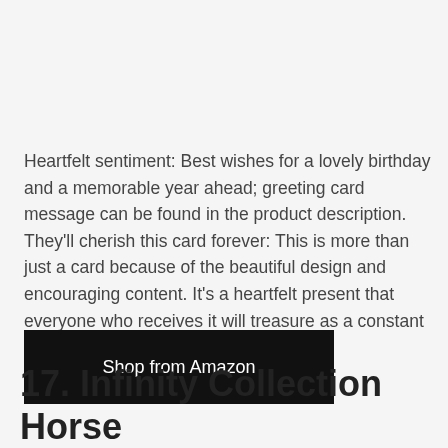Heartfelt sentiment: Best wishes for a lovely birthday and a memorable year ahead; greeting card message can be found in the product description. They'll cherish this card forever: This is more than just a card because of the beautiful design and encouraging content. It's a heartfelt present that everyone who receives it will treasure as a constant reminder that every day is a gift.
Shop from Amazon
17. Infinity Collection Horse